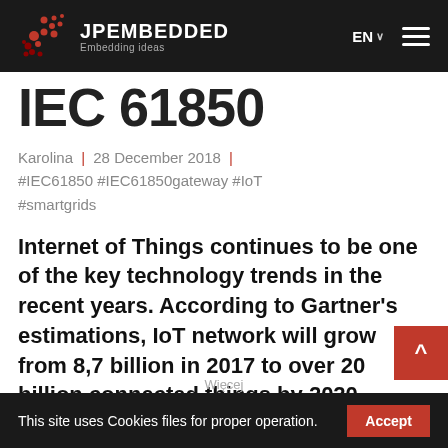JPEMBEDDED — Embedding ideas
IEC 61850
Karolina | 28 December 2018 | #IEC61850 #IEC61850gateway #IoT #smartgrids
Internet of Things continues to be one of the key technology trends in the recent years. According to Gartner's estimations, IoT network will grow from 8,7 billion in 2017 to over 20 billion connected things by 2020. Utilities...
This site uses Cookies files for proper operation. Accept